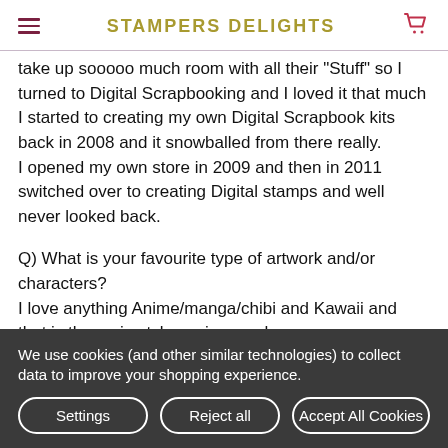STAMPERS DELIGHTS
take up sooooo much room with all their "Stuff" so I turned to Digital Scrapbooking and I loved it that much I started to creating my own Digital Scrapbook kits back in 2008 and it snowballed from there really.
I opened my own store in 2009 and then in 2011 switched over to creating Digital stamps and well never looked back.
Q) What is your favourite type of artwork and/or characters?
I love anything Anime/manga/chibi and Kawaii and that is the main style my images have.
We use cookies (and other similar technologies) to collect data to improve your shopping experience.